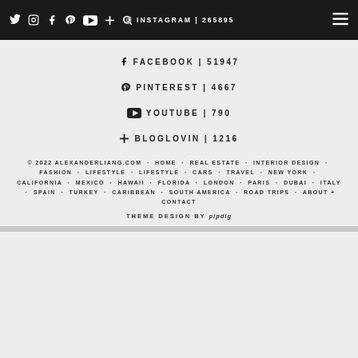Social media icons navigation bar | INSTAGRAM | 265895
FACEBOOK | 51947
PINTEREST | 4667
YOUTUBE | 790
BLOGLOVIN | 1216
© 2022 ALEXANDERLIANG.COM · HOME · REAL ESTATE · INTERIOR DESIGN · FASHION · LIFESTYLE · LIFESTYLE · CARS · TRAVEL · NEW YORK · CALIFORNIA · MEXICO · HAWAII · FLORIDA · LONDON · PARIS · DUBAI · ITALY · SPAIN · TURKEY · CARIBBEAN · SOUTH AMERICA · ROAD TRIPS · ABOUT + CONTACT THEME DESIGN BY pipdig